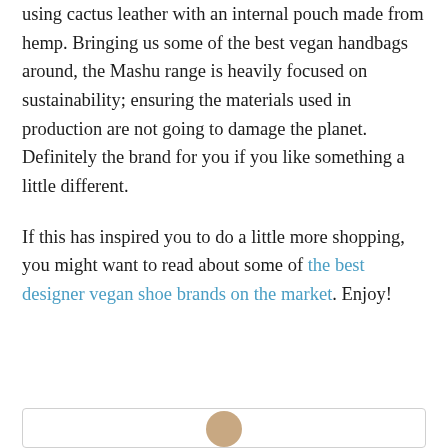using cactus leather with an internal pouch made from hemp. Bringing us some of the best vegan handbags around, the Mashu range is heavily focused on sustainability; ensuring the materials used in production are not going to damage the planet. Definitely the brand for you if you like something a little different.
If this has inspired you to do a little more shopping, you might want to read about some of the best designer vegan shoe brands on the market. Enjoy!